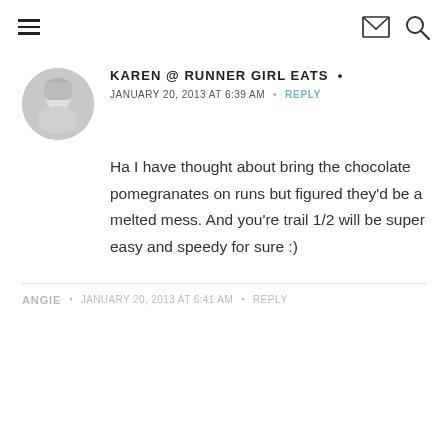Navigation header with hamburger menu, envelope icon, and search icon
KAREN @ RUNNER GIRL EATS •
JANUARY 20, 2013 AT 6:39 AM • REPLY
Ha I have thought about bring the chocolate pomegranates on runs but figured they'd be a melted mess. And you're trail 1/2 will be super easy and speedy for sure :)
ANGIE • JANUARY 20, 2013 AT 6:41 AM • REPLY